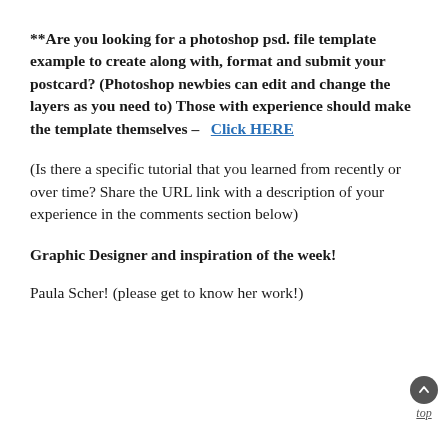**Are you looking for a photoshop psd. file template example to create along with, format and submit your postcard? (Photoshop newbies can edit and change the layers as you need to) Those with experience should make the template themselves – Click HERE
(Is there a specific tutorial that you learned from recently or over time? Share the URL link with a description of your experience in the comments section below)
Graphic Designer and inspiration of the week!
Paula Scher! (please get to know her work!)